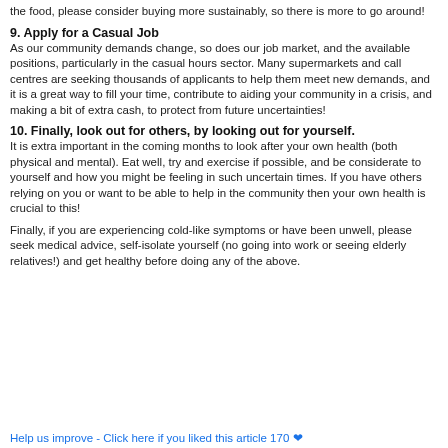the food, please consider buying more sustainably, so there is more to go around!
9. Apply for a Casual Job
As our community demands change, so does our job market, and the available positions, particularly in the casual hours sector. Many supermarkets and call centres are seeking thousands of applicants to help them meet new demands, and it is a great way to fill your time, contribute to aiding your community in a crisis, and making a bit of extra cash, to protect from future uncertainties!
10. Finally, look out for others, by looking out for yourself.
It is extra important in the coming months to look after your own health (both physical and mental). Eat well, try and exercise if possible, and be considerate to yourself and how you might be feeling in such uncertain times. If you have others relying on you or want to be able to help in the community then your own health is crucial to this!
Finally, if you are experiencing cold-like symptoms or have been unwell, please seek medical advice, self-isolate yourself (no going into work or seeing elderly relatives!) and get healthy before doing any of the above.
Help us improve - Click here if you liked this article 170 ❤